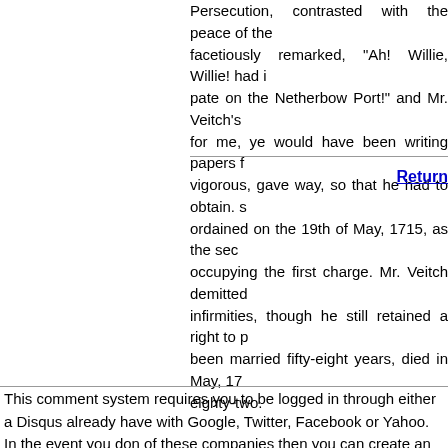Persecution, contrasted with the peace of the facetiously remarked, "Ah! Willie, Willie! had i pate on the Netherbow Port!" and Mr. Veitch's for me, ye would have been writing papers f vigorous, gave way, so that he had to obtain. s ordained on the 19th of May, 1715, as the sec occupying the first charge. Mr. Veitch demitted infirmities, though he still retained a right to p been married fifty-eight years, died in May, 17 eighty-two.
Return
This comment system requires you to be logged in through either a Disqus already have with Google, Twitter, Facebook or Yahoo. In the event you don of these companies then you can create an account with Disqus. All comme won't display until the moderator has approved your comment.